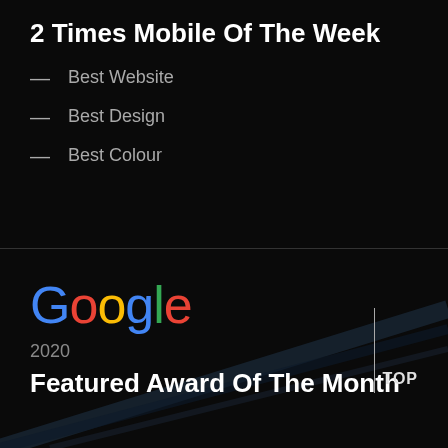2 Times Mobile Of The Week
Best Website
Best Design
Best Colour
[Figure (logo): Google logo in multicolor text]
2020
TOP
Featured Award Of The Month